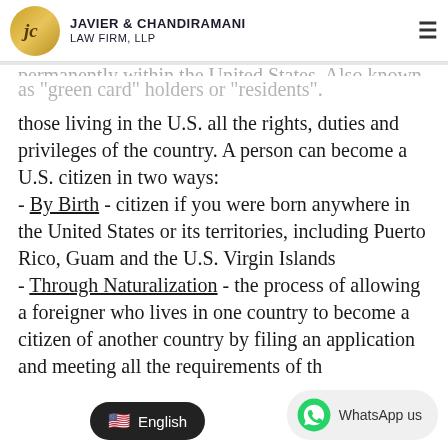Javier & Chandiramani Law Firm, LLP
Lawful Permanent Resident or LPR - non-citizens who are lawfully authorized to live and work permanently within the United States. Also known as "green card" holders or "residents".
U.S. Citizen - a U.S. citizen is a status that allows those living in the U.S. all the rights, duties and privileges of the country. A person can become a U.S. citizen in two ways: - By Birth - citizen if you were born anywhere in the United States or its territories, including Puerto Rico, Guam and the U.S. Virgin Islands - Through Naturalization - the process of allowing a foreigner who lives in one country to become a citizen of another country by filing an application and meeting all the requirements of th...